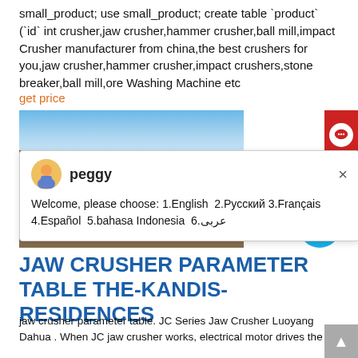small_product; use small_product; create table `product` (`id` int crusher,jaw crusher,hammer crusher,ball mill,impact Crusher manufacturer from china,the best crushers for you,jaw crusher,hammer crusher,impact crushers,stone breaker,ball mill,ore Washing Machine etc
get price
[Figure (photo): Photo of jaw crusher machinery on a construction site with blue sky background. A chat popup from 'peggy' overlays the image welcoming users to choose language options.]
Welcome, please choose: 1.English  2.Русский 3.Français 4.Español  5.bahasa Indonesia  6.عربی
JAW CRUSHER PARAMETER TABLE THE-KANDIS-RESIDENCES
jaw crusher parameter table. JC Series Jaw Crusher Luoyang Dahua . When JC jaw crusher works, electrical motor drives the belt and to make theominions as follows the riff